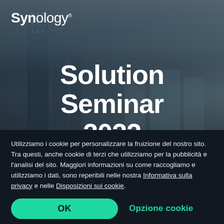[Figure (photo): Dark blue-tinted city skyline with skyscrapers, used as background image for a Synology Solution Seminar 2022 event page.]
Synology
Solution Seminar 2022
DoubleTree by Hilton Hotel
Utilizziamo i cookie per personalizzare la fruizione del nostro sito. Tra questi, anche cookie di terzi che utilizziamo per la pubblicità e l'analisi del sito. Maggiori informazioni su come raccogliamo e utilizziamo i dati, sono reperibili nelle nostra Informativa sulla privacy e nelle Disposizioni sui cookie.
OK
Opzione cookie